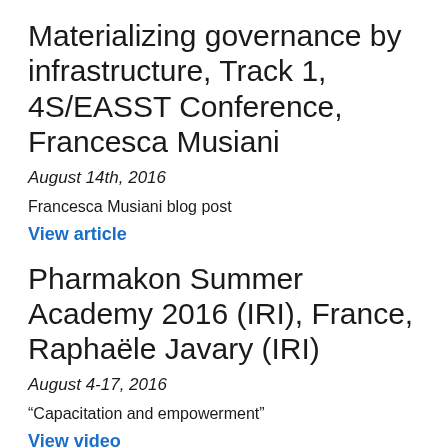Materializing governance by infrastructure, Track 1, 4S/EASST Conference, Francesca Musiani
August 14th, 2016
Francesca Musiani blog post
View article
Pharmakon Summer Academy 2016 (IRI), France, Raphaële Javary (IRI)
August 4-17, 2016
“Capacitation and empowerment”
View video